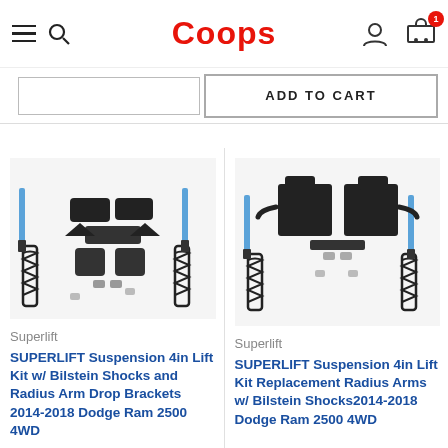Coops
ADD TO CART
[Figure (photo): SUPERLIFT Suspension 4in Lift Kit with Bilstein Shocks and Radius Arm Drop Brackets for 2014-2018 Dodge Ram 2500 4WD — parts laid flat showing coil springs, shocks, brackets]
Superlift
SUPERLIFT Suspension 4in Lift Kit w/ Bilstein Shocks and Radius Arm Drop Brackets 2014-2018 Dodge Ram 2500 4WD
[Figure (photo): SUPERLIFT Suspension 4in Lift Kit Replacement Radius Arms with Bilstein Shocks for 2014-2018 Dodge Ram 2500 4WD — parts laid flat showing radius arms, coil springs, shocks, brackets]
Superlift
SUPERLIFT Suspension 4in Lift Kit Replacement Radius Arms w/ Bilstein Shocks2014-2018 Dodge Ram 2500 4WD